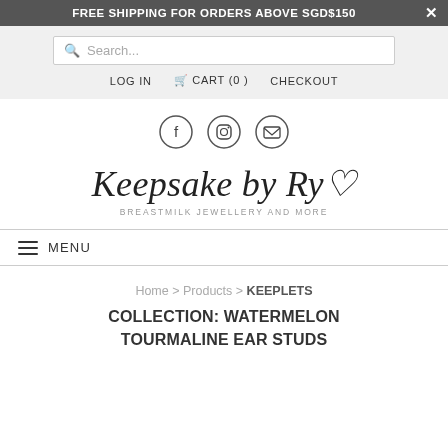FREE SHIPPING FOR ORDERS ABOVE SGD$150
Search...
LOG IN   CART (0)   CHECKOUT
[Figure (logo): Social media icons: Facebook, Instagram, Email in circles]
[Figure (logo): Keepsake by Ryo logo with tagline BREASTMILK JEWELLERY AND MORE]
MENU
Home > Products > KEEPLETS COLLECTION: WATERMELON TOURMALINE EAR STUDS